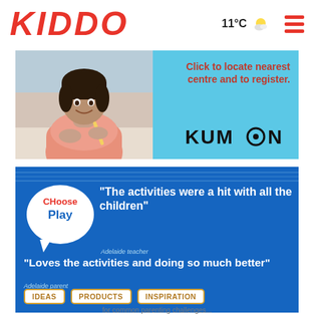KIDDO
11°C
[Figure (photo): Kumon advertisement banner: a smiling child in a pink sweater writing at a desk on the left, blue background on right with text 'Click to locate nearest centre and to register.' and the Kumon logo.]
[Figure (infographic): Choose Play advertisement on blue background with speech bubble logo reading 'Choose Play', quotes from an Adelaide teacher ('The activities were a hit with all the children') and Adelaide parent ('Loves the activities and doing so much better'), and tags for IDEAS, PRODUCTS, INSPIRATION.]